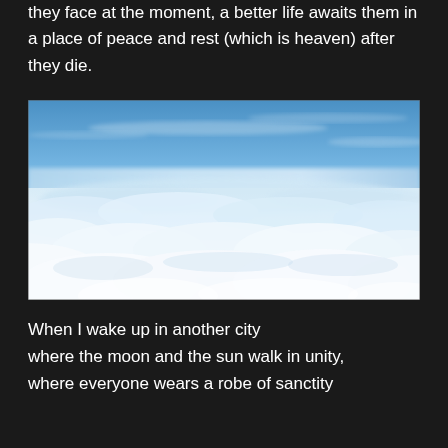they face at the moment, a better life awaits them in a place of peace and rest (which is heaven) after they die.
[Figure (photo): Aerial view of clouds from above, with bright blue sky above and a vast white cloud layer below, photographed from an airplane altitude.]
When I wake up in another city
where the moon and the sun walk in unity,
where everyone wears a robe of sanctity